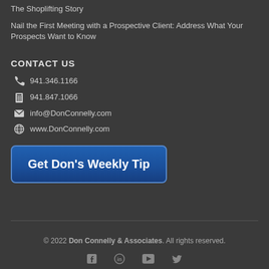The Shoplifting Story
Nail the First Meeting with a Prospective Client: Address What Your Prospects Want to Know
CONTACT US
941.346.1166
941.847.1066
info@DonConnelly.com
www.DonConnelly.com
Get Don's Weekly Tip
© 2022 Don Connelly & Associates. All rights reserved.